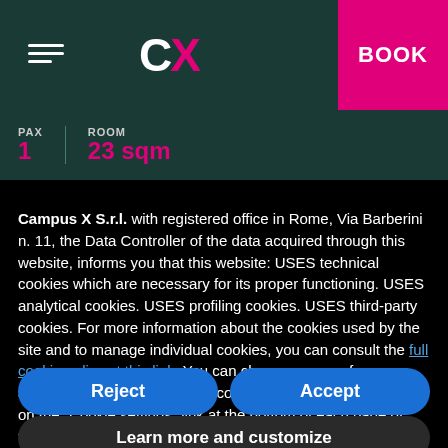CX BOOK - PAX 1 | ROOM 23 sqm
Campus X S.r.l. with registered office in Rome, Via Barberini n. 11, the Data Controller of the data acquired through this website, informs you that this website: USES technical cookies which are necessary for its proper functioning. USES analytical cookies. USES profiling cookies. USES third-party cookies. For more information about the cookies used by the site and to manage individual cookies, you can consult the full cookie policy at this link: You can change your preferences, and in particular remove your consent at any time, by clicking on the "Cookie settings" link at the bottom of each page of this website.
Reject
Accept
Learn more and customize